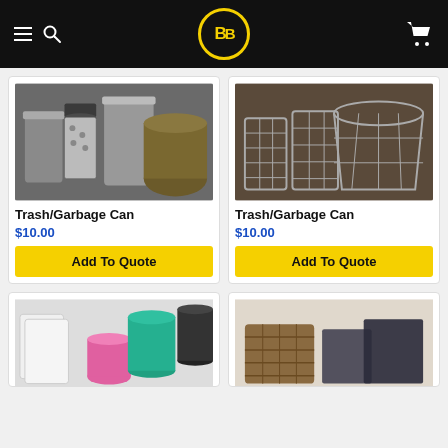BB (Buy Below) - navigation header with hamburger menu, search, logo, and cart
[Figure (photo): Photo of multiple metal trash/garbage cans including a step-on stainless steel can, a black and white patterned can, and a large stainless barrel]
Trash/Garbage Can
$10.00
Add To Quote
[Figure (photo): Photo of multiple wire mesh trash/garbage cans in different sizes on a wooden floor]
Trash/Garbage Can
$10.00
Add To Quote
[Figure (photo): Photo of plastic trash/garbage cans in white, pink, teal, and black colors on a white background]
[Figure (photo): Photo of decorative trash/garbage cans including a wicker basket and dark square bins on a white background]